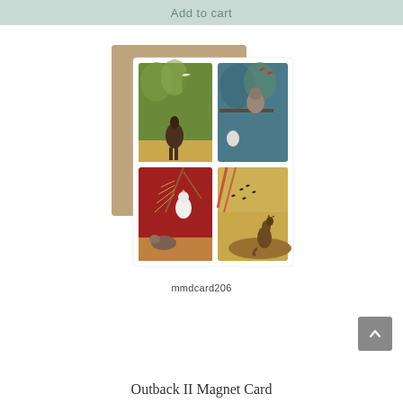Add to cart
[Figure (illustration): A greeting card showing four illustrated panels of Australian wildlife: top-left shows an emu in a green forest with a white bird flying; top-right shows a koala in blue-toned foliage with red birds; bottom-left shows a white cockatoo on a branch over red outback landscape with a wombat; bottom-right shows a kangaroo silhouette in golden outback with black birds flying. The card is shown with a kraft paper envelope behind it.]
mmdcard206
Outback II Magnet Card